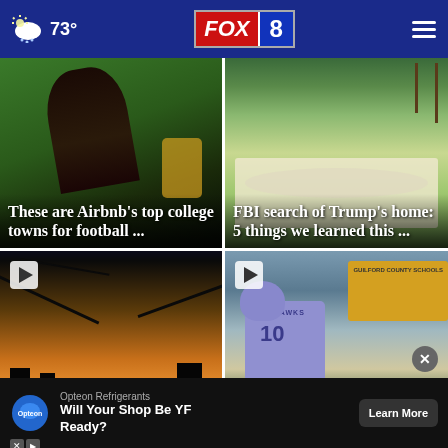73° FOX 8
[Figure (photo): Soccer player kicking ball on green field with players in yellow in background]
These are Airbnb's top college towns for football ...
[Figure (photo): Aerial view of Trump's Mar-a-Lago estate with palm trees and pool]
FBI search of Trump's home: 5 things we learned this ...
[Figure (photo): Palm tree silhouette against orange sunset sky with city skyline]
'Bad idea': Miami plan to move ...
[Figure (photo): Football player wearing Nighthawks jersey number 10 with school bus in background]
Play of the Night, fro... Guilford vs. ...
Opteon Refrigerants Will Your Shop Be YF Ready? Learn More